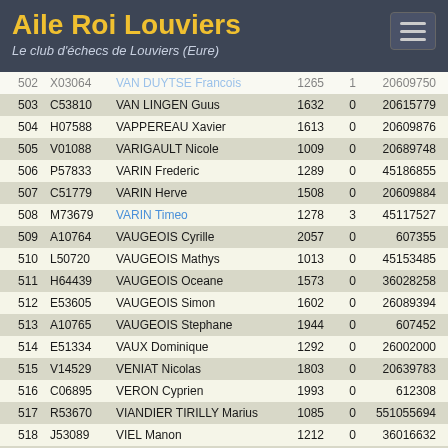Aile Roi Louviers — Le club d'échecs de Louviers (Eure)
| # | Code | Nom | Elo | T | FIDE | K |
| --- | --- | --- | --- | --- | --- | --- |
| 502 | X03064 | VAN DUYTSE Francois | 1265 | 1 | 20609750 | 40 |
| 503 | C53810 | VAN LINGEN Guus | 1632 | 0 | 20615779 | 20 |
| 504 | H07588 | VAPPEREAU Xavier | 1613 | 0 | 20609876 | 20 |
| 505 | V01088 | VARIGAULT Nicole | 1009 | 0 | 20689748 | 20 |
| 506 | P57833 | VARIN Frederic | 1289 | 0 | 45186855 | 20 |
| 507 | C51779 | VARIN Herve | 1508 | 0 | 20609884 | 40 |
| 508 | M73679 | VARIN Timeo | 1278 | 3 | 45117527 | 40 |
| 509 | A10764 | VAUGEOIS Cyrille | 2057 | 0 | 607355 | 20 |
| 510 | L50720 | VAUGEOIS Mathys | 1013 | 0 | 45153485 | 40 |
| 511 | H64439 | VAUGEOIS Oceane | 1573 | 0 | 36028258 | 40 |
| 512 | E53605 | VAUGEOIS Simon | 1602 | 0 | 26089394 | 20 |
| 513 | A10765 | VAUGEOIS Stephane | 1944 | 0 | 607452 | 20 |
| 514 | E51334 | VAUX Dominique | 1292 | 0 | 26002000 | 40 |
| 515 | V14529 | VENIAT Nicolas | 1803 | 0 | 20639783 | 20 |
| 516 | C06895 | VERON Cyprien | 1993 | 0 | 612308 | 20 |
| 517 | R53670 | VIANDIER TIRILLY Marius | 1085 | 0 | 551055694 | 40 |
| 518 | J53089 | VIEL Manon | 1212 | 0 | 36016632 | 40 |
| 519 | F00103 | VIGNERON Frederic | 1717 | 6 | 624195 | 20 |
| 520 | R58728 | VIMONT Antonin | 1143 | 0 | 551035090 | 40 |
| 521 | A10927 | VINCENT Didier | 1940 | 0 | 649260 | 20 |
| 522 | B52093 | VINCENT Vassili | 1333 | 1 | 20639805 | 20 |
| 523 | A01009 | VIOLETTE ... | 1510 | 0 | 20059750 | 40 |